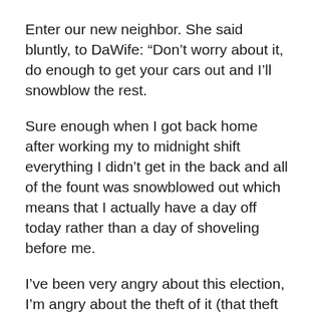Enter our new neighbor. She said bluntly, to DaWife: “Don’t worry about it, do enough to get your cars out and I’ll snowblow the rest.
Sure enough when I got back home after working my to midnight shift everything I didn’t get in the back and all of the fount was snowblowed out which means that I actually have a day off today rather than a day of shoveling before me.
I’ve been very angry about this election, I’m angry about the theft of it (that theft isn’t from Trump it’s from me and 80 million others like me) I’m angry about the openness of said theft and the cowardice of those unwilling to call it out, I’m angry at the courts and the legislatures who have the power to stop it from I’m angry at the thought that I don’t know if my vote when cast actually is being counted